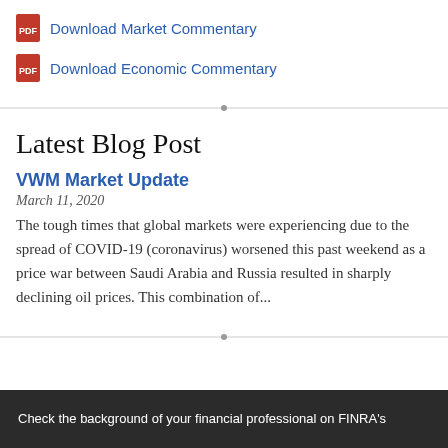Download Market Commentary
Download Economic Commentary
Latest Blog Post
VWM Market Update
March 11, 2020
The tough times that global markets were experiencing due to the spread of COVID-19 (coronavirus) worsened this past weekend as a price war between Saudi Arabia and Russia resulted in sharply declining oil prices. This combination of...
Check the background of your financial professional on FINRA's